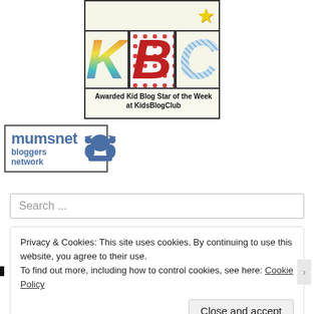[Figure (illustration): Kid Blog Club award badge showing stylized colorful letters KBC with a yellow star, bordered box with caption 'Awarded Kid Blog Star of the Week at KidsBlogClub']
[Figure (logo): Mumsnet bloggers network badge showing 'mumsnet bloggers network' text in blue with a blue silhouette graphic]
Search ...
Privacy & Cookies: This site uses cookies. By continuing to use this website, you agree to their use.
To find out more, including how to control cookies, see here: Cookie Policy